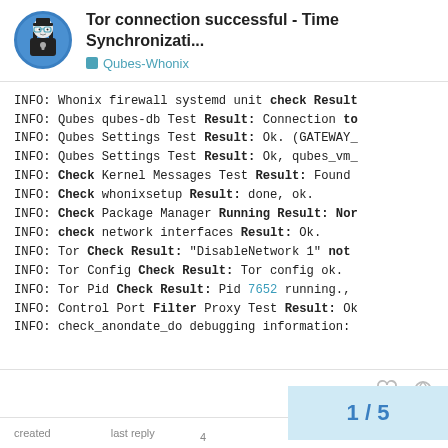Tor connection successful - Time Synchronizati... | Qubes-Whonix
INFO: Whonix firewall systemd unit check Result
INFO: Qubes qubes-db Test Result: Connection to
INFO: Qubes Settings Test Result: Ok. (GATEWAY_
INFO: Qubes Settings Test Result: Ok, qubes_vm_
INFO: Check Kernel Messages Test Result: Found
INFO: Check whonixsetup Result: done, ok.
INFO: Check Package Manager Running Result: Nor
INFO: check network interfaces Result: Ok.
INFO: Tor Check Result: "DisableNetwork 1" not
INFO: Tor Config Check Result: Tor config ok.
INFO: Tor Pid Check Result: Pid 7652 running.,
INFO: Control Port Filter Proxy Test Result: Ok
INFO: check_anondate_do debugging information:
created   last reply   4
1 / 5